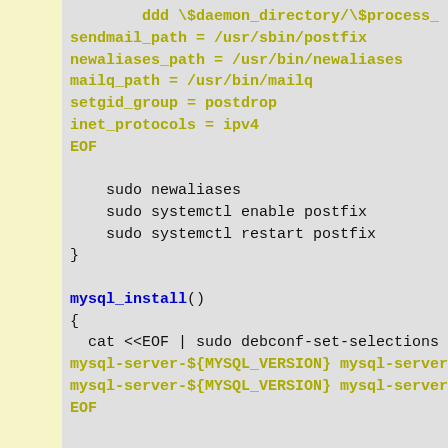ddd \$daemon_directory/\$process_...
sendmail_path = /usr/sbin/postfix
newaliases_path = /usr/bin/newaliases
mailq_path = /usr/bin/mailq
setgid_group = postdrop
inet_protocols = ipv4
EOF

    sudo newaliases
    sudo systemctl enable postfix
    sudo systemctl restart postfix
}

mysql_install()
{
  cat <<EOF | sudo debconf-set-selections
mysql-server-${MYSQL_VERSION} mysql-server...
mysql-server-${MYSQL_VERSION} mysql-server...
EOF